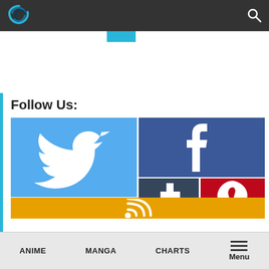Navigation bar with logo and search icon
[Figure (screenshot): Website screenshot showing Follow Us social media section with Twitter, Facebook, Tumblr, Pinterest, and RSS icons, with bottom navigation bar showing ANIME, MANGA, CHARTS, Menu]
Follow Us:
ANIME  MANGA  CHARTS  Menu